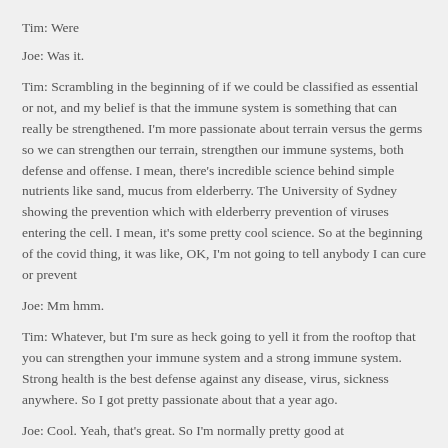Tim: Were
Joe: Was it.
Tim: Scrambling in the beginning of if we could be classified as essential or not, and my belief is that the immune system is something that can really be strengthened. I'm more passionate about terrain versus the germs so we can strengthen our terrain, strengthen our immune systems, both defense and offense. I mean, there's incredible science behind simple nutrients like sand, mucus from elderberry. The University of Sydney showing the prevention which with elderberry prevention of viruses entering the cell. I mean, it's some pretty cool science. So at the beginning of the covid thing, it was like, OK, I'm not going to tell anybody I can cure or prevent
Joe: Mm hmm.
Tim: Whatever, but I'm sure as heck going to yell it from the rooftop that you can strengthen your immune system and a strong immune system. Strong health is the best defense against any disease, virus, sickness anywhere. So I got pretty passionate about that a year ago.
Joe: Cool. Yeah, that's great. So I'm normally pretty good at